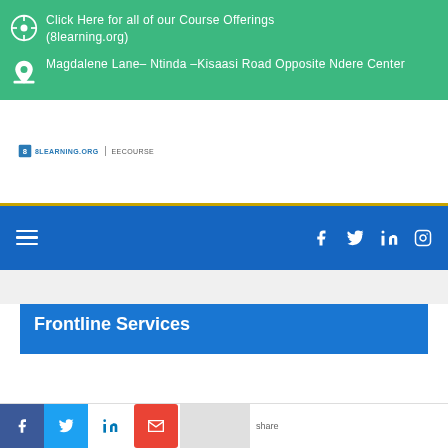Click Here for all of our Course Offerings (8learning.org)
Magdalene Lane– Ntinda –Kisaasi Road Opposite Ndere Center
[Figure (logo): 8learning.org logo with icon and text]
[Figure (infographic): Blue navigation bar with hamburger menu icon and social media icons: Facebook, Twitter, LinkedIn, Instagram]
Frontline Services
[Figure (infographic): Social share bar with Facebook, Twitter, LinkedIn, Gmail, and share button icons]